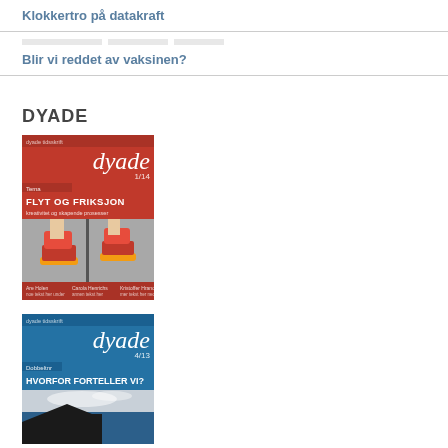Klokkertro på datakraft
Blir vi reddet av vaksinen?
DYADE
[Figure (photo): Cover of Dyade magazine 1/14 titled FLYT OG FRIKSJON showing rollerblades on asphalt]
[Figure (photo): Cover of Dyade magazine 4/13 titled HVORFOR FORTELLER VI? showing ocean and rocky coastline]